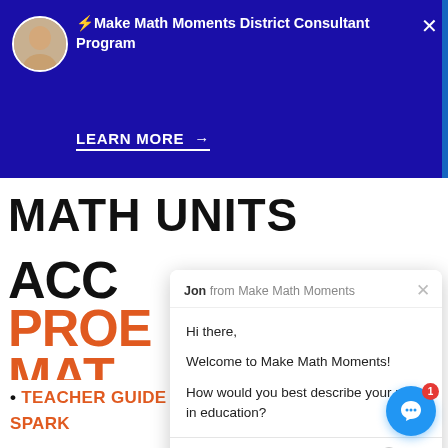[Figure (screenshot): Dark blue promotional banner with avatar, title 'Make Math Moments District Consultant Program', and 'LEARN MORE →' link]
⚡Make Math Moments District Consultant Program
LEARN MORE →
[Figure (screenshot): Background page showing 'MATH UNITS' heading, ACCo/PROE/MAT text in black and orange, small avatar, and bottom text 'EACH LES / OF:' with 'TEACHER GUIDE' and 'SPARK' links]
[Figure (screenshot): Chat widget popup from 'Jon from Make Math Moments' with greeting messages and reply input area]
Jon from Make Math Moments
Hi there,
Welcome to Make Math Moments!
How would you best describe your role in education?
Reply to Jon...
• TEACHER GUIDE
SPARK